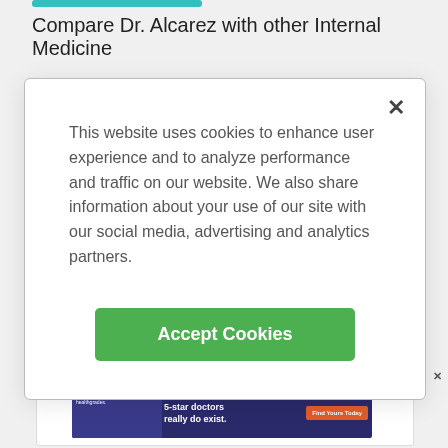[Figure (screenshot): Teal progress bar at top of page]
Compare Dr. Alcarez with other Internal Medicine
19 reviews
[Figure (screenshot): Learn More teal rounded button]
[Figure (screenshot): Advertisement section with doctor silhouette and healthgrades banner: 5-star doctors really do exist. Find Yours Today]
This website uses cookies to enhance user experience and to analyze performance and traffic on our website. We also share information about your use of our site with our social media, advertising and analytics partners.
[Figure (screenshot): Accept Cookies green button in cookie consent modal]